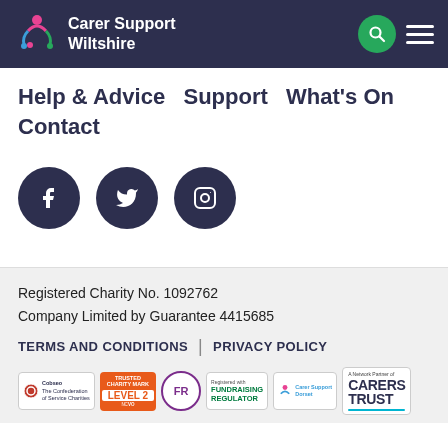Carer Support Wiltshire
Help & Advice  Support  What's On  Contact
[Figure (logo): Social media icons: Facebook, Twitter, Instagram — dark navy circles with white icons]
Registered Charity No. 1092762
Company Limited by Guarantee 4415685
TERMS AND CONDITIONS | PRIVACY POLICY
[Figure (logo): Badge row: Cobseo Confederation of Service Charities, Trusted Charity Mark Level 2, FR Fundraising Regulator, Carer Support Dorset, A Network Partner of Carers Trust]